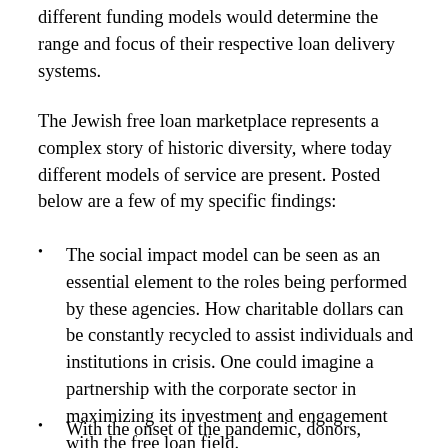different funding models would determine the range and focus of their respective loan delivery systems.
The Jewish free loan marketplace represents a complex story of historic diversity, where today different models of service are present. Posted below are a few of my specific findings:
The social impact model can be seen as an essential element to the roles being performed by these agencies. How charitable dollars can be constantly recycled to assist individuals and institutions in crisis. One could imagine a partnership with the corporate sector in maximizing its investment and engagement with the free loan field.
With the onset of the pandemic, donors, involving